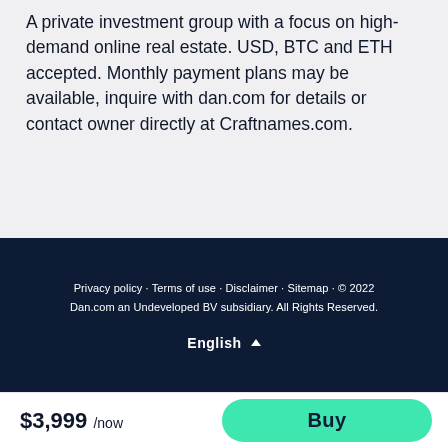A private investment group with a focus on high-demand online real estate. USD, BTC and ETH accepted. Monthly payment plans may be available, inquire with dan.com for details or contact owner directly at Craftnames.com.
Privacy policy · Terms of use · Disclaimer · Sitemap · © 2022 Dan.com an Undeveloped BV subsidiary. All Rights Reserved.
English ▲
$3,999 /now
Buy